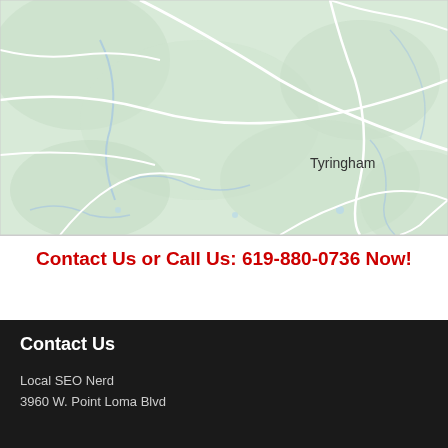[Figure (map): Google Maps style map showing Tyringham area with green terrain, white roads, and blue water features. The town label 'Tyringham' is visible in the center-right of the map.]
Contact Us or Call Us: 619-880-0736 Now!
Contact Us
Local SEO Nerd
3960 W. Point Loma Blvd